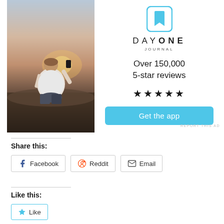[Figure (photo): Person sitting on rocks from behind, holding up a phone/camera toward a sunset sky, wearing a white t-shirt]
[Figure (logo): Day One Journal app icon — light blue square with bookmark icon, and wordmark DAYONE JOURNAL below]
Over 150,000 5-star reviews
★★★★★
Get the app
REPORT THIS AD
Share this:
Facebook
Reddit
Email
Like this:
Like